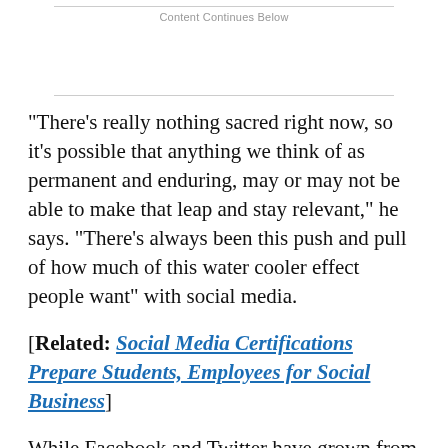Content Continues Below
"There's really nothing sacred right now, so it's possible that anything we think of as permanent and enduring, may or may not be able to make that leap and stay relevant," he says. "There's always been this push and pull of how much of this water cooler effect people want" with social media.
[Related: Social Media Certifications Prepare Students, Employees for Social Business]
While Facebook and Twitter have grown from consumer-facing sites that now also deliver key